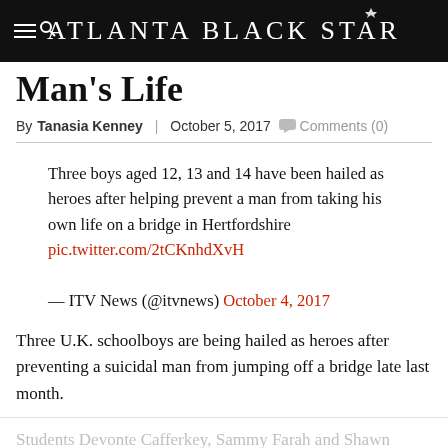Atlanta Black Star
Man's Life
By Tanasia Kenney | October 5, 2017  Comments (0)
Three boys aged 12, 13 and 14 have been hailed as heroes after helping prevent a man from taking his own life on a bridge in Hertfordshire pic.twitter.com/2tCKnhdXvH

— ITV News (@itvnews) October 4, 2017
Three U.K. schoolboys are being hailed as heroes after preventing a suicidal man from jumping off a bridge late last month.
Students Devonte Cafferkey, Sammy Farah and Shawn Young leaped into action as soon as they realized what